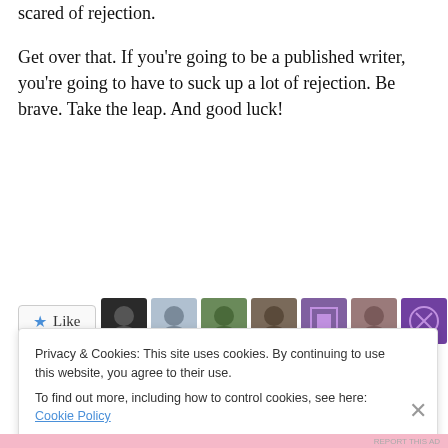scared of rejection.
Get over that. If you’re going to be a published writer, you’re going to have to suck up a lot of rejection. Be brave. Take the leap. And good luck!
[Figure (other): Like button and a row of blogger avatar thumbnails. Text below reads: 16 bloggers like this.]
Privacy & Cookies: This site uses cookies. By continuing to use this website, you agree to their use.
To find out more, including how to control cookies, see here: Cookie Policy
Close and accept